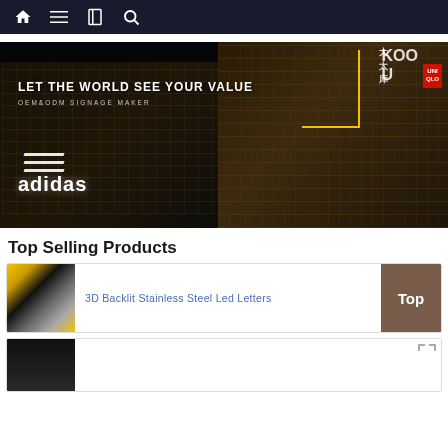Navigation bar with home, menu, book, and search icons
[Figure (photo): Night cityscape showing illuminated Adidas billboard on left building and modern glass building on right with yellow accent lines and KOO signage. Overlay text reads: LET THE WORLD SEE YOUR VALUE / OEM&ODM SIGNAGE MAKER]
Top Selling Products
[Figure (photo): Product thumbnail showing metallic and yellow striped material for 3D Backlit Stainless Steel Led Letters]
3D Backlit Stainless Steel Led Letters
[Figure (photo): Second product thumbnail showing dark material]